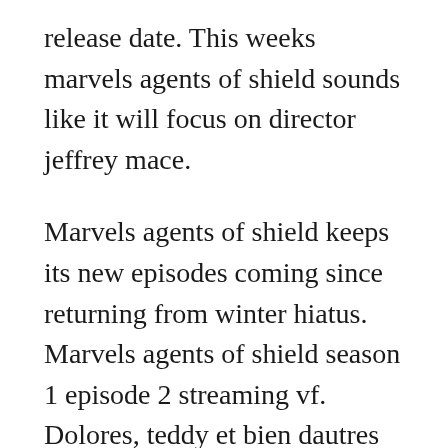release date. This weeks marvels agents of shield sounds like it will focus on director jeffrey mace.
Marvels agents of shield keeps its new episodes coming since returning from winter hiatus. Marvels agents of shield season 1 episode 2 streaming vf. Dolores, teddy et bien dautres sont des androides a apparence humaine crees pour donner lillusion et offrir du depaysement aux clients. With coulsons fate hanging in the balance, the rest of the agents realize that someone might need to